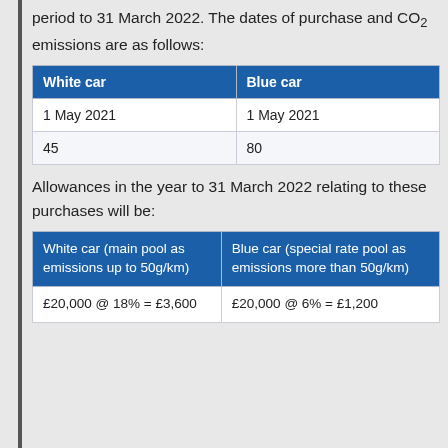period to 31 March 2022. The dates of purchase and CO₂ emissions are as follows:
| White car | Blue car |
| --- | --- |
| 1 May 2021 | 1 May 2021 |
| 45 | 80 |
Allowances in the year to 31 March 2022 relating to these purchases will be:
| White car (main pool as emissions up to 50g/km) | Blue car (special rate pool as emissions more than 50g/km) |
| --- | --- |
| £20,000 @ 18% = £3,600 | £20,000 @ 6% = £1,200 |